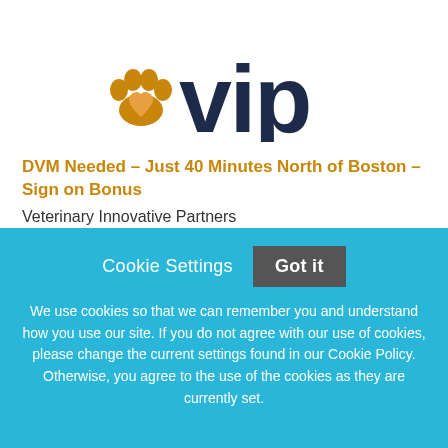[Figure (logo): VIP Veterinary Innovative Partners logo with orange paw print icon and dark navy 'vip' text]
DVM Needed – Just 40 Minutes North of Boston – Sign on Bonus
Veterinary Innovative Partners
Methuen, Massachusetts
Cookie Settings
Got it
We use cookies so that we can remember you and understand how you use our site. If you do not agree with our use of cookies, please change the current settings found in our Cookie Policy. Otherwise, you agree to the use of the cookies as they are currently set.